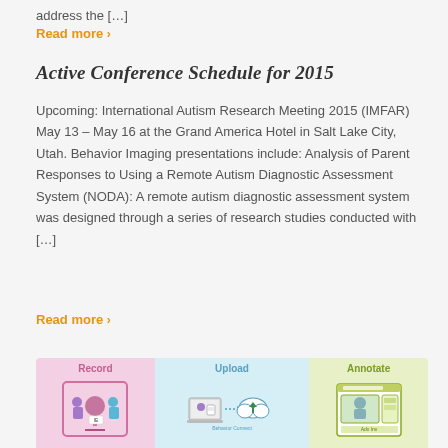address the […]
Read more >
Active Conference Schedule for 2015
Upcoming: International Autism Research Meeting 2015 (IMFAR) May 13 – May 16 at the Grand America Hotel in Salt Lake City, Utah. Behavior Imaging presentations include: Analysis of Parent Responses to Using a Remote Autism Diagnostic Assessment System (NODA): A remote autism diagnostic assessment system was designed through a series of research studies conducted with […]
Read more >
[Figure (infographic): Three-panel infographic showing Record (pink panel with camera and figures), Upload (blue panel with laptop, cloud, and Behavior Connect), and Annotate (green panel with annotation interface)]